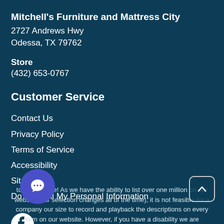Mitchell's Furniture and Mattress City
2727 Andrews Hwy
Odessa, TX 79762
Store
(432) 653-0767
Customer Service
Contact Us
Privacy Policy
Terms of Service
Accessibility
Site Map
Do Not Sell My Personal Information
[Figure (logo): Facebook social media icon - white F on white circle background]
[Figure (other): Blue circular chat button with speech bubble icon]
to our website! As we have the ability to list over one million on our website (our selection changes all of the time), it is not feasible for a company our size to record and playback the descriptions on every item on our website. However, if you have a disability we are
[Figure (other): Scroll to top button with upward chevron arrow]